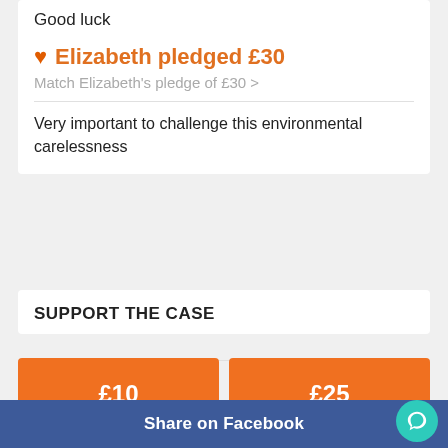Good luck
❤ Elizabeth pledged £30
Match Elizabeth's pledge of £30 >
Very important to challenge this environmental carelessness
SUPPORT THE CASE
£10
£25
Share on Facebook